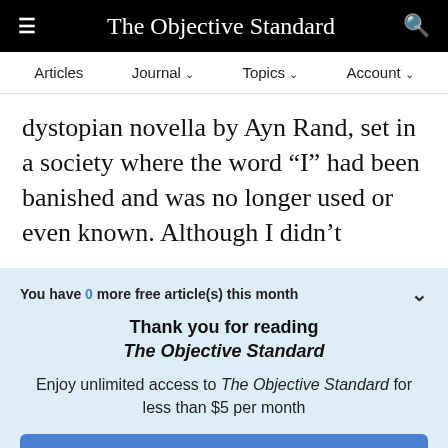The Objective Standard
Articles  Journal  Topics  Account
dystopian novella by Ayn Rand, set in a society where the word “I” had been banished and was no longer used or even known. Although I didn’t
You have 0 more free article(s) this month
Thank you for reading The Objective Standard
Enjoy unlimited access to The Objective Standard for less than $5 per month
See Options
Already a subscriber? Log in